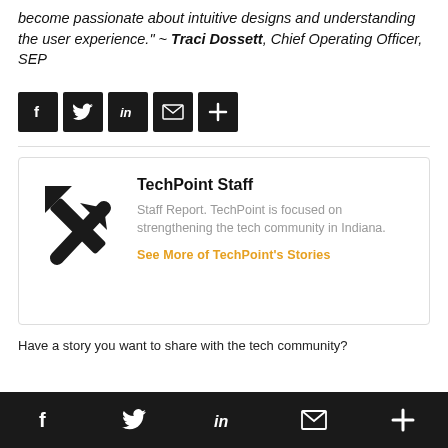become passionate about intuitive designs and understanding the user experience." ~ Traci Dossett, Chief Operating Officer, SEP
[Figure (infographic): Social share buttons row: Facebook, Twitter, LinkedIn, Email, Plus icons on dark background]
[Figure (infographic): Author card for TechPoint Staff with arrow logo, name, description, and link]
TechPoint Staff
Staff Report. TechPoint is focused on strengthening the tech community in Indiana.
See More of TechPoint's Stories
Have a story you want to share with the tech community?
Social share footer bar: Facebook, Twitter, LinkedIn, Email, Plus icons